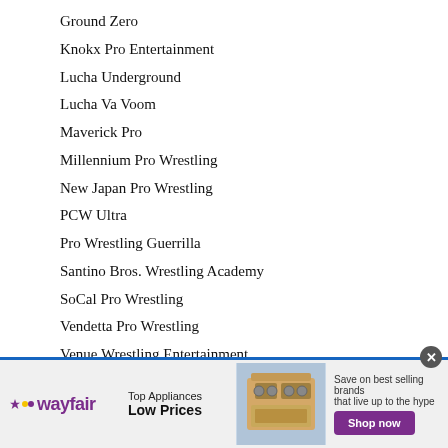Ground Zero
Knokx Pro Entertainment
Lucha Underground
Lucha Va Voom
Maverick Pro
Millennium Pro Wrestling
New Japan Pro Wrestling
PCW Ultra
Pro Wrestling Guerrilla
Santino Bros. Wrestling Academy
SoCal Pro Wrestling
Vendetta Pro Wrestling
Venue Wrestling Entertainment
[Figure (infographic): Wayfair advertisement banner: Top Appliances Low Prices with stove image and Shop now button]